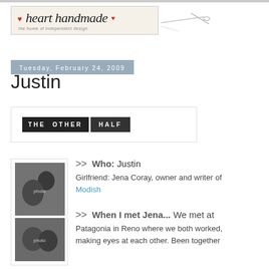[Figure (logo): Heart Handmade blog logo with needle and thread illustration]
Tuesday, February 24, 2009
Justin
[Figure (illustration): The Other Half banner graphic with dark background text]
[Figure (photo): Black and white photo strip showing a couple in two poses]
>> Who: Justin
Girlfriend: Jena Coray, owner and writer of Modish
>> When I met Jena... We met at Patagonia in Reno where we both worked, making eyes at each other. Been together